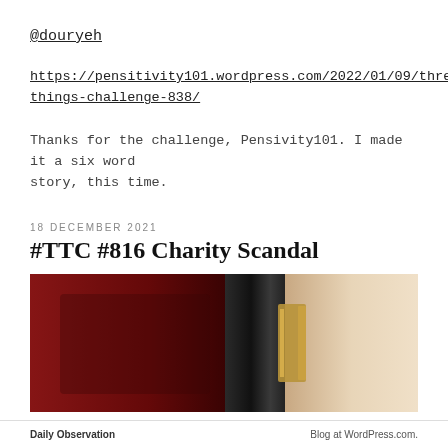@douryeh
https://pensitivity101.wordpress.com/2022/01/09/three-things-challenge-838/
Thanks for the challenge, Pensivity101. I made it a six word story, this time.
18 DECEMBER 2021
#TTC #816 Charity Scandal
[Figure (photo): Close-up photograph showing a dark red/crimson background on the left, a black vertical cylindrical object in the center, and a lighter beige/cream area on the right, with a gold-toned metallic bracket or clasp visible in the middle-right area.]
Daily Observation    Blog at WordPress.com.